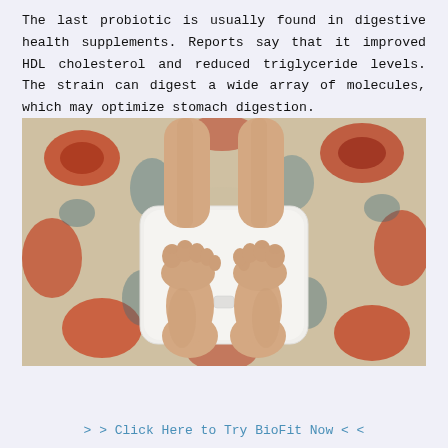The last probiotic is usually found in digestive health supplements. Reports say that it improved HDL cholesterol and reduced triglyceride levels. The strain can digest a wide array of molecules, which may optimize stomach digestion.
[Figure (photo): Overhead view of a person's bare feet standing on a white digital bathroom scale placed on a patterned oriental rug with red, blue, and beige tones.]
> > Click Here to Try BioFit Now < <